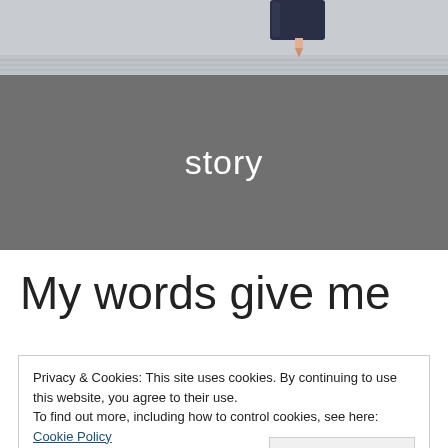[Figure (photo): Photo banner showing notebook lines and a pencil/eraser object at top of page]
story
My words give me
Privacy & Cookies: This site uses cookies. By continuing to use this website, you agree to their use.
To find out more, including how to control cookies, see here: Cookie Policy
Close and accept
I feel like a young kid again, tipsy and